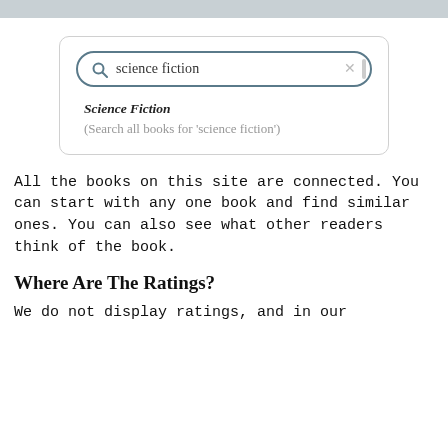[Figure (screenshot): A search interface showing a search bar with 'science fiction' typed in, with a dropdown showing 'Science Fiction' in bold italic and '(Search all books for 'science fiction')' in grey text below.]
All the books on this site are connected. You can start with any one book and find similar ones. You can also see what other readers think of the book.
Where Are The Ratings?
We do not display ratings, and in our